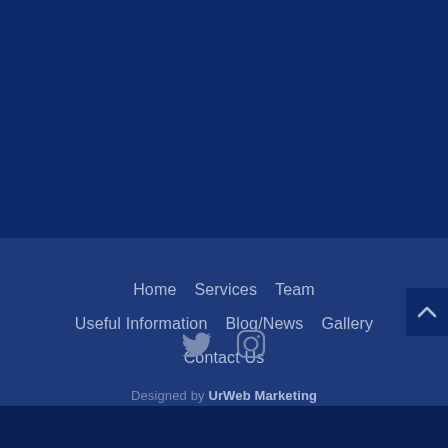[Figure (screenshot): Dark navy blue solid background area filling the top 53% of the page]
Home
Services
Team
Useful Information
Blog/News
Gallery
Contact Us
Designed by UrWeb Marketing